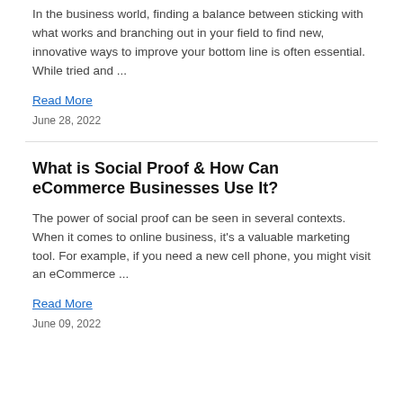In the business world, finding a balance between sticking with what works and branching out in your field to find new, innovative ways to improve your bottom line is often essential. While tried and ...
Read More
June 28, 2022
What is Social Proof & How Can eCommerce Businesses Use It?
The power of social proof can be seen in several contexts. When it comes to online business, it's a valuable marketing tool. For example, if you need a new cell phone, you might visit an eCommerce ...
Read More
June 09, 2022